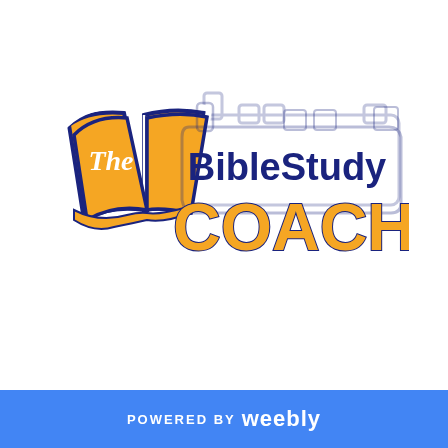[Figure (logo): The Bible Study Coach logo featuring an open orange book with 'The' written in white cursive script, next to dark navy blue text reading 'BibleStudy' and large orange collegiate-style text reading 'COACH'. Behind the text is a silhouette of a train engine in dark navy outline.]
POWERED BY weebly